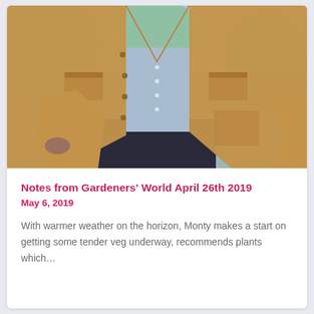[Figure (photo): A person wearing a tan/brown open button-up jacket over a light blue shirt, with dark jeans, standing outdoors in a garden setting with green foliage in the background.]
Notes from Gardeners' World April 26th 2019
May 6, 2019
With warmer weather on the horizon, Monty makes a start on getting some tender veg underway, recommends plants which...